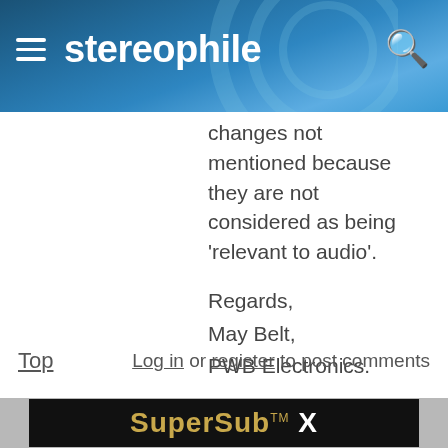stereophile
changes not mentioned because they are not considered as being ‘relevant to audio’.

Regards,
May Belt,
PWB Electronics.
Top   Log in or register to post comments
[Figure (screenshot): Advertisement banner showing 'SuperSub TM X' text in gold and white on black background]